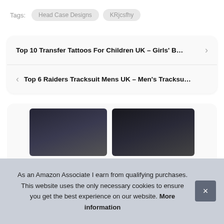Tags: Head Case Designs  KRjcsfhy
Top 10 Transfer Tattoos For Children UK – Girls' B…
Top 6 Raiders Tracksuit Mens UK – Men's Tracksu…
[Figure (photo): Product images partially visible at bottom of page]
As an Amazon Associate I earn from qualifying purchases. This website uses the only necessary cookies to ensure you get the best experience on our website. More information